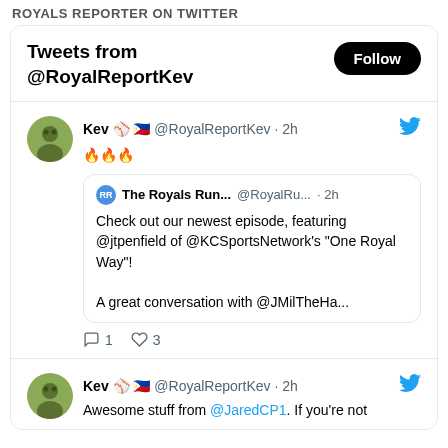ROYALS REPORTER ON TWITTER
Tweets from @RoyalReportKev
Kev ⚾ 🇵🇭 @RoyalReportKev · 2h
🔥🔥🔥
The Royals Run... @RoyalRu... · 2h
Check out our newest episode, featuring @jtpenfield of @KCSportsNetwork's "One Royal Way"!

A great conversation with @JMilTheHa...
1 reply, 3 likes
Kev ⚾ 🇵🇭 @RoyalReportKev · 2h
Awesome stuff from @JaredCP1. If you're not following him, then that goes without...